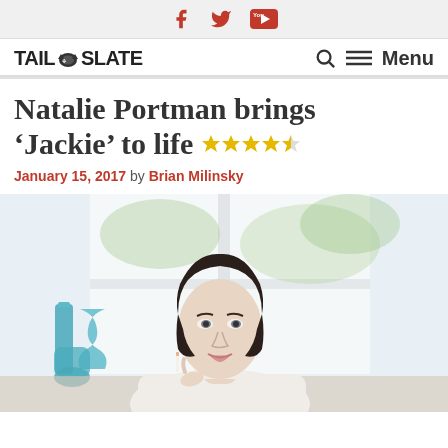Social icons: Facebook, Twitter, YouTube
TAIL [cat] SLATE — Search / Menu
Natalie Portman brings 'Jackie' to life ★★★★½
January 15, 2017 by Brian Milinsky
[Figure (photo): Natalie Portman as Jackie Kennedy, a woman with dark short hair wearing a white turtleneck sweater, holding a cigarette, with teal/turquoise vases and a bright window in the background]